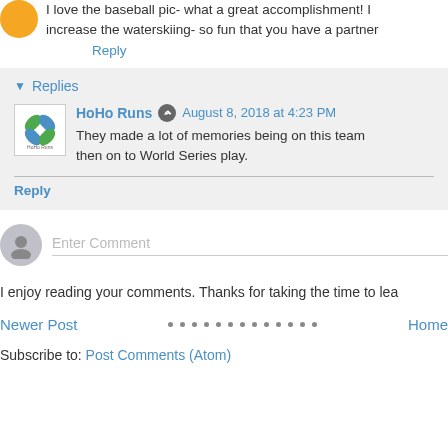I love the baseball pic- what a great accomplishment! I increase the waterskiing- so fun that you have a partner
Reply
▾ Replies
HoHo Runs  August 8, 2018 at 4:23 PM
They made a lot of memories being on this team then on to World Series play.
Reply
Enter Comment
I enjoy reading your comments. Thanks for taking the time to lea
Newer Post
Home
Subscribe to: Post Comments (Atom)